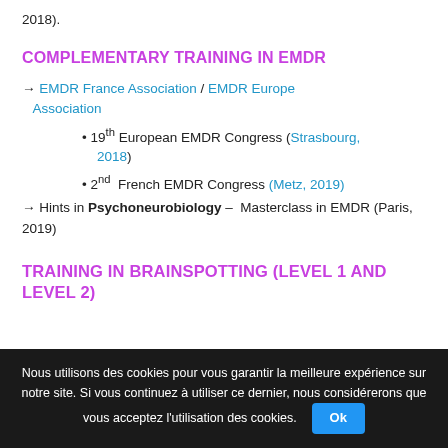2018).
COMPLEMENTARY TRAINING IN EMDR
→ EMDR France Association / EMDR Europe Association
• 19th European EMDR Congress (Strasbourg, 2018)
• 2nd French EMDR Congress (Metz, 2019)
→ Hints in Psychoneurobiology – Masterclass in EMDR (Paris, 2019)
TRAINING IN BRAINSPOTTING (LEVEL 1 AND LEVEL 2)
Nous utilisons des cookies pour vous garantir la meilleure expérience sur notre site. Si vous continuez à utiliser ce dernier, nous considérerons que vous acceptez l'utilisation des cookies.